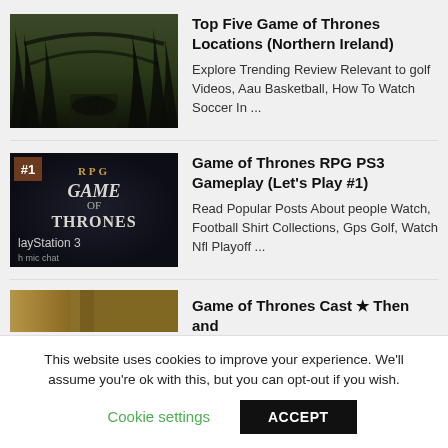Top Five Game of Thrones Locations (Northern Ireland)
Explore Trending Review Relevant to golf Videos, Aau Basketball, How To Watch Soccer In ...
Game of Thrones RPG PS3 Gameplay (Let's Play #1)
Read Popular Posts About people Watch, Football Shirt Collections, Gps Golf, Watch Nfl Playoff ...
Game of Thrones Cast ★ Then and
This website uses cookies to improve your experience. We'll assume you're ok with this, but you can opt-out if you wish.
Cookie settings  ACCEPT